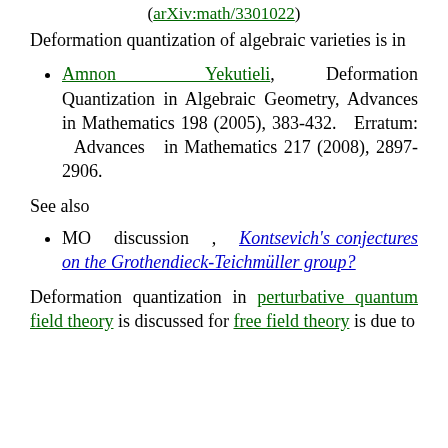(arXiv:math/3301022)
Deformation quantization of algebraic varieties is in
Amnon Yekutieli, Deformation Quantization in Algebraic Geometry, Advances in Mathematics 198 (2005), 383-432. Erratum: Advances in Mathematics 217 (2008), 2897-2906.
See also
MO discussion , Kontsevich's conjectures on the Grothendieck-Teichmüller group?
Deformation quantization in perturbative quantum field theory is discussed for free field theory is due to